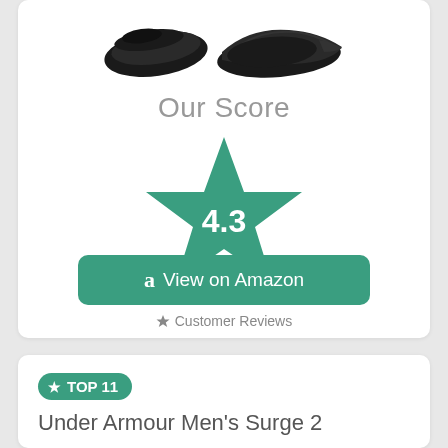[Figure (photo): Two black athletic slip-on shoes shown from above (bottom view and side view)]
Our Score
[Figure (infographic): Large green star with score 4.3 displayed in center]
View on Amazon
★ Customer Reviews
★ TOP 11
Under Armour Men's Surge 2